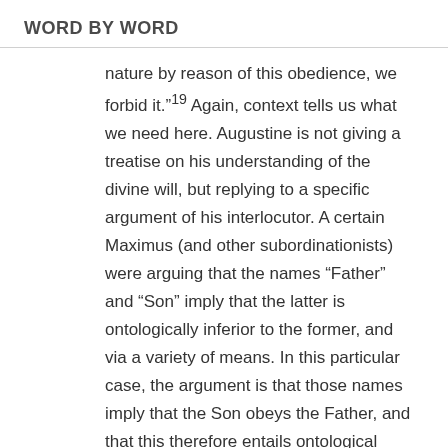WORD BY WORD
nature by reason of this obedience, we forbid it.”¹⁹ Again, context tells us what we need here. Augustine is not giving a treatise on his understanding of the divine will, but replying to a specific argument of his interlocutor. A certain Maximus (and other subordinationists) were arguing that the names “Father” and “Son” imply that the latter is ontologically inferior to the former, and via a variety of means. In this particular case, the argument is that those names imply that the Son obeys the Father, and that this therefore entails ontological
[Figure (logo): Blue circular icon with a magnifying glass and cross symbol, representing a Bible study or theological search tool]
Written by
Guest Author